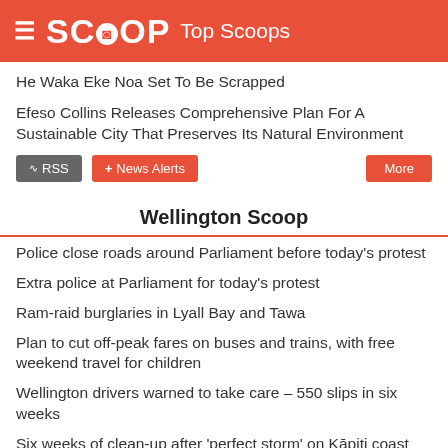SCOOP Top Scoops
He Waka Eke Noa Set To Be Scrapped
Efeso Collins Releases Comprehensive Plan For A Sustainable City That Preserves Its Natural Environment
Wellington Scoop
Police close roads around Parliament before today's protest
Extra police at Parliament for today's protest
Ram-raid burglaries in Lyall Bay and Tawa
Plan to cut off-peak fares on buses and trains, with free weekend travel for children
Wellington drivers warned to take care – 550 slips in six weeks
Six weeks of clean-up after 'perfect storm' on Kāpiti coast
Roads between Nelson and Blenheim still closed by flood damage